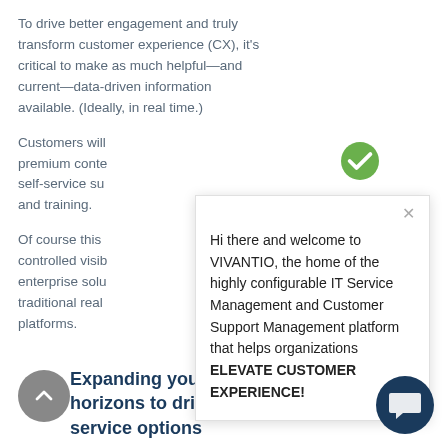To drive better engagement and truly transform customer experience (CX), it's critical to make as much helpful—and current—data-driven information available. (Ideally, in real time.)
Customers will [partially obscured] premium conte[nt] self-service su[pport] and training.
Of course this [partially obscured] controlled visib[ility] enterprise solu[tions] traditional real[time] platforms.
[Figure (screenshot): Chat popup overlay from Vivantio with green checkmark logo, close X button, and welcome message: Hi there and welcome to VIVANTIO, the home of the highly configurable IT Service Management and Customer Support Management platform that helps organizations ELEVATE CUSTOMER EXPERIENCE!]
Expanding your customer service horizons to drive robust self-service options